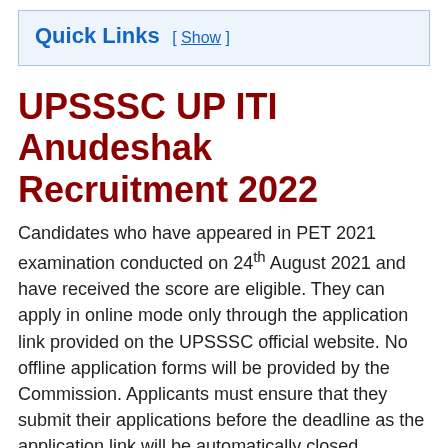Quick Links [ Show ]
UPSSSC UP ITI Anudeshak Recruitment 2022
Candidates who have appeared in PET 2021 examination conducted on 24th August 2021 and have received the score are eligible. They can apply in online mode only through the application link provided on the UPSSSC official website. No offline application forms will be provided by the Commission. Applicants must ensure that they submit their applications before the deadline as the application link will be automatically closed